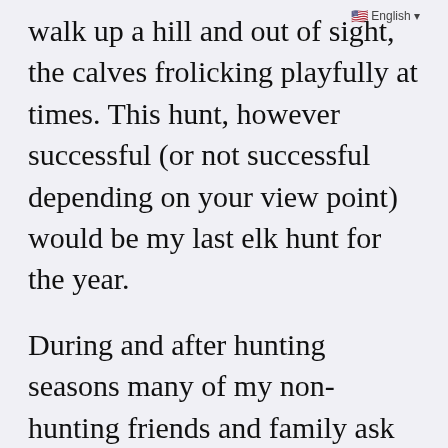walk up a hill and out of sight, the calves frolicking playfully at times. This hunt, however successful (or not successful depending on your view point) would be my last elk hunt for the year.
During and after hunting seasons many of my non-hunting friends and family ask me how my season is going. The conversation usually goes something like this: “So, did you get anything?”, “Nope, not yet!” “Oh,